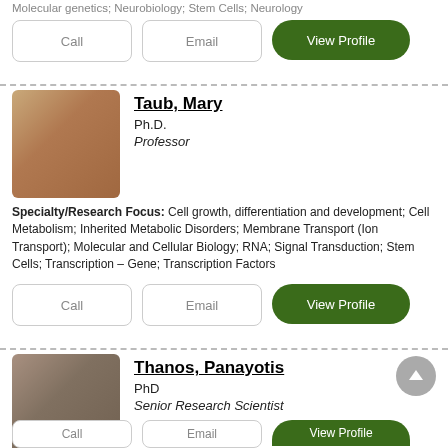Molecular genetics; Neurobiology; Stem Cells; Neurology
Call | Email | View Profile
Taub, Mary
Ph.D.
Professor
Specialty/Research Focus: Cell growth, differentiation and development; Cell Metabolism; Inherited Metabolic Disorders; Membrane Transport (Ion Transport); Molecular and Cellular Biology; RNA; Signal Transduction; Stem Cells; Transcription – Gene; Transcription Factors
Call | Email | View Profile
Thanos, Panayotis
PhD
Senior Research Scientist
Call | Email | View Profile